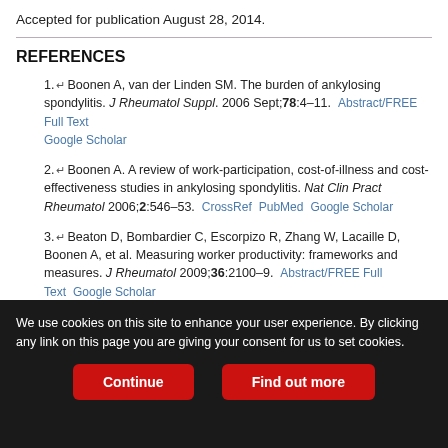Accepted for publication August 28, 2014.
REFERENCES
1. Boonen A, van der Linden SM. The burden of ankylosing spondylitis. J Rheumatol Suppl. 2006 Sept;78:4–11. Abstract/FREE Full Text Google Scholar
2. Boonen A. A review of work-participation, cost-of-illness and cost-effectiveness studies in ankylosing spondylitis. Nat Clin Pract Rheumatol 2006;2:546–53. CrossRef PubMed Google Scholar
3. Beaton D, Bombardier C, Escorpizo R, Zhang W, Lacaille D, Boonen A, et al. Measuring worker productivity: frameworks and measures. J Rheumatol 2009;36:2100–9. Abstract/FREE Full Text Google Scholar
We use cookies on this site to enhance your user experience. By clicking any link on this page you are giving your consent for us to set cookies.